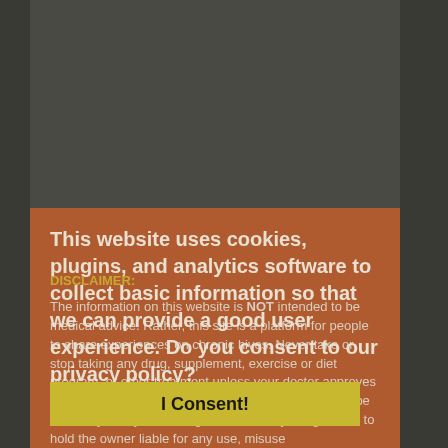[Figure (screenshot): Dark gray background area representing the upper portion of a website screenshot]
This website uses cookies, plugins, and analytics software to collect basic information so that we can provide a good user experience. Do you consent to our privacy policy?
DISCLAIMER:
The information on this website is NOT intended to be medical advice. Rather, this site is a platform for people to share experiences on chronic hives. Never take or stop taking any drug, supplement, exercise or diet program, or other treatment unless your doctor approves it. Some treatments, such as sweat therapy, may not be safe for you. By accessing this website, you agree not to hold the owner liable for any use, misuse
I Consent!